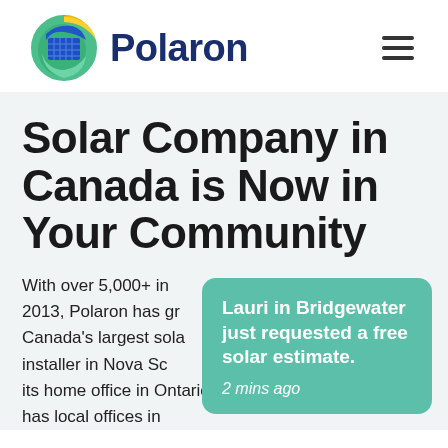[Figure (logo): Polaron company logo: circular globe-like icon with solar panel pattern in blue, green, and yellow/gold segments, next to bold dark navy 'Polaron' wordmark]
Polaron (logo and hamburger menu icon)
Solar Company in Canada is Now in Your Community
With over 5,000+ in 2013, Polaron has gr Canada's largest sola installer in Nova Sc its home office in Ontario, it has local offices in
Lauri in Bridgewater just requested a free solar estimate. 2 mins ago